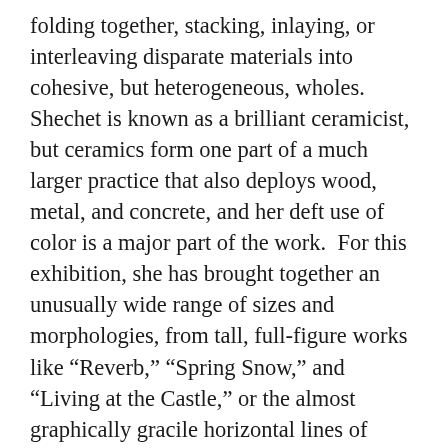folding together, stacking, inlaying, or interleaving disparate materials into cohesive, but heterogeneous, wholes.  Shechet is known as a brilliant ceramicist, but ceramics form one part of a much larger practice that also deploys wood, metal, and concrete, and her deft use of color is a major part of the work.  For this exhibition, she has brought together an unusually wide range of sizes and morphologies, from tall, full-figure works like “Reverb,” “Spring Snow,” and “Living at the Castle,” or the almost graphically gracile horizontal lines of “Split Second,” to small, magical wall and shelf pieces like “Bubble Up” and “A Soft Hard Rain.”  Exclusively in black, white, and grey, “Equal Time” is a major new work that nods at Constructivism, an aggregation of elemental shapes miraculously heaped together.
The depth and expanse of Shechet’s vision was on view in All At Once, a survey at the ICA Boston in 2015, which looked back at two decades of work.  Since that detailed exhibition Shechet mounted a solo presentation at the Contemporary Art Museum, St. Louis, and she was invited to perform extremely rare solo